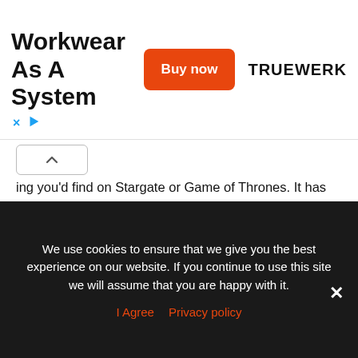[Figure (other): Advertisement banner for Truewerk workwear with 'Buy now' button]
ing you'd find on Stargate or Game of Thrones. It has since been confirmed that the architecture was inspired by Blade Runner and Mad Max.
Inside, however, things run like clockwork with 35,000 sets of sunglasses manufactured every day. The premises also include a functioning military tank, a torpedo, and a bike track.[7]
3 Gazprom Arena
The Gazprom Arena in St. Petersburg, Russia is inte...
We use cookies to ensure that we give you the best experience on our website. If you continue to use this site we will assume that you are happy with it.
I Agree   Privacy policy